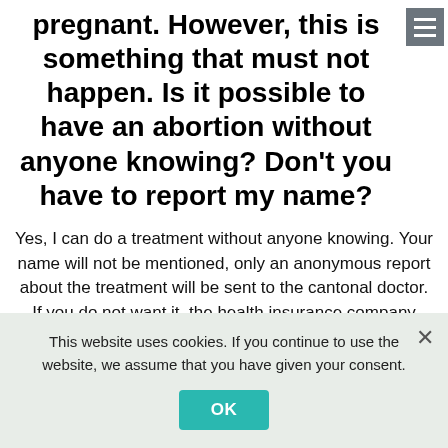pregnant. However, this is something that must not happen. Is it possible to have an abortion without anyone knowing? Don't you have to report my name?
Yes, I can do a treatment without anyone knowing. Your name will not be mentioned, only an anonymous report about the treatment will be sent to the cantonal doctor. If you do not want it, the health insurance company does not receive any information either. We will not send the health insurance company an invoice without your consent. If relatives or anyone else inquires with us, we will only inform them about your treatment with your express permission. Aftercare doctors receive the necessary information because we usually assume that they have only heard from you that you have been treated
This website uses cookies. If you continue to use the website, we assume that you have given your consent.